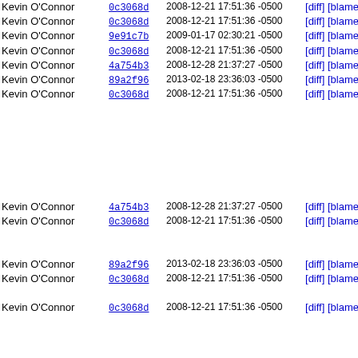| Author | Commit | Date | Links | Line | Code |
| --- | --- | --- | --- | --- | --- |
| Kevin O'Connor | 0c3068d | 2008-12-21 17:51:36 -0500 | [diff] [blame] | 13 |  |
| Kevin O'Connor | 0c3068d | 2008-12-21 17:51:36 -0500 | [diff] [blame] | 14 | extern |
| Kevin O'Connor | 9e91c7b | 2009-01-17 02:30:21 -0500 | [diff] [blame] | 15 | extern |
| Kevin O'Connor | 0c3068d | 2008-12-21 17:51:36 -0500 | [diff] [blame] | 16 |  |
| Kevin O'Connor | 4a754b3 | 2008-12-28 21:37:27 -0500 | [diff] [blame] | 17 | #if CON |
| Kevin O'Connor | 89a2f96 | 2013-02-18 23:36:03 -0500 | [diff] [blame] | 18 | struct |
| Kevin O'Connor | 0c3068d | 2008-12-21 17:51:36 -0500 | [diff] [blame] | 19 |     .si |
|  |  |  |  | 20 |     .ve |
|  |  |  |  | 21 |     .le |
|  |  |  |  | 22 |     .re |
|  |  |  |  | 23 |     .pr |
|  |  |  |  | 24 |     .re |
|  |  |  |  | 25 |     .pr |
|  |  |  |  | 26 | }; |
| Kevin O'Connor | 4a754b3 | 2008-12-28 21:37:27 -0500 | [diff] [blame] | 27 | #else |
| Kevin O'Connor | 0c3068d | 2008-12-21 17:51:36 -0500 | [diff] [blame] | 28 | // We n |
|  |  |  |  | 29 | // actu |
|  |  |  |  | 30 | // not |
| Kevin O'Connor | 89a2f96 | 2013-02-18 23:36:03 -0500 | [diff] [blame] | 31 | char pn |
| Kevin O'Connor | 0c3068d | 2008-12-21 17:51:36 -0500 | [diff] [blame] | 32 | #endif |
|  |  |  |  | 33 |  |
| Kevin O'Connor | 0c3068d | 2008-12-21 17:51:36 -0500 | [diff] [blame] | 34 | // BBS |
|  |  |  |  | 35 | static |
|  |  |  |  | 36 | handle_ |
|  |  |  |  | 37 | { |
|  |  |  |  | 38 |     u16 |